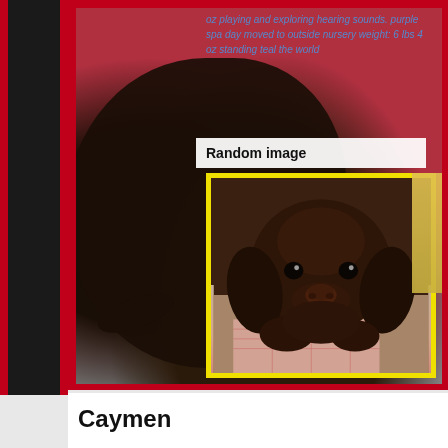[Figure (photo): A large photo area with a dark/black puppy in the background against a red barn wall. Overlaid text in blue describes puppy milestones. A 'Random image' label box is overlaid, and within it a yellow-bordered inset photo shows a chocolate Labrador/spaniel puppy face being held by a person wearing a plaid cloth.]
oz playing and exploring hearing sounds. purple spa day moved to outside nursery weight: 6 lbs 4 oz standing teal the world
Random image
Caymen